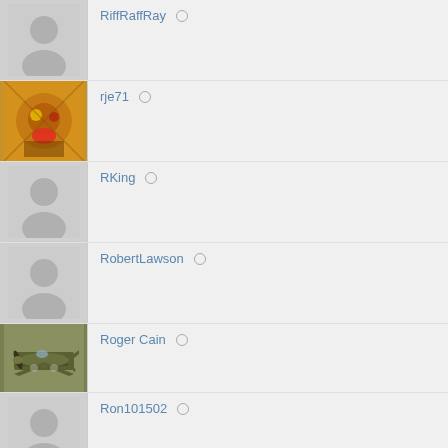RiffRaffRay ○
rje71 ○
RKing ○
RobertLawson ○
Roger Cain ○
Ron101502 ○
Ross ○
rpzo ○